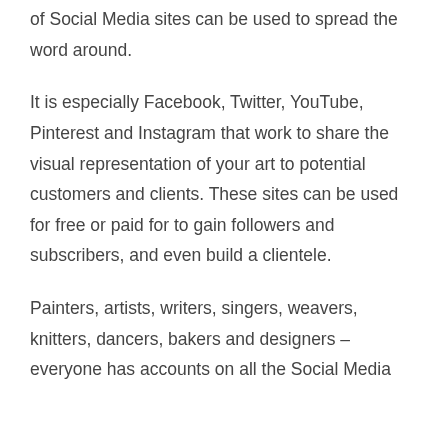of Social Media sites can be used to spread the word around.
It is especially Facebook, Twitter, YouTube, Pinterest and Instagram that work to share the visual representation of your art to potential customers and clients. These sites can be used for free or paid for to gain followers and subscribers, and even build a clientele.
Painters, artists, writers, singers, weavers, knitters, dancers, bakers and designers – everyone has accounts on all the Social Media